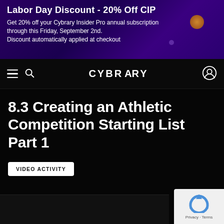[Figure (screenshot): Purple gradient promotional banner for Labor Day Discount]
Labor Day Discount - 20% Off CIP
Get 20% off your Cybrary Insider Pro annual subscription through this Friday, September 2nd. Discount automatically applied at checkout
CYBRARY
8.3 Creating an Athletic Competition Starting List Part 1
VIDEO ACTIVITY